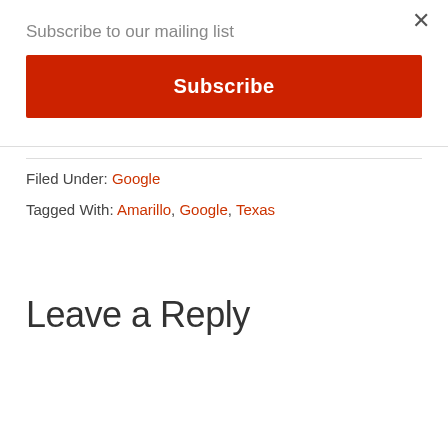Subscribe to our mailing list
×
Subscribe
Filed Under: Google
Tagged With: Amarillo, Google, Texas
Leave a Reply